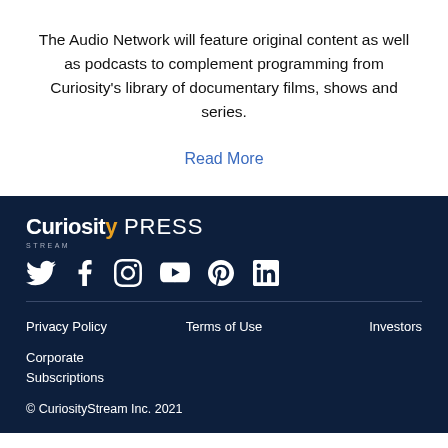The Audio Network will feature original content as well as podcasts to complement programming from Curiosity's library of documentary films, shows and series.
Read More
[Figure (logo): CuriosityStream PRESS logo with social media icons (Twitter, Facebook, Instagram, YouTube, Pinterest, LinkedIn)]
Privacy Policy   Terms of Use   Investors
Corporate Subscriptions
© CuriosityStream Inc. 2021